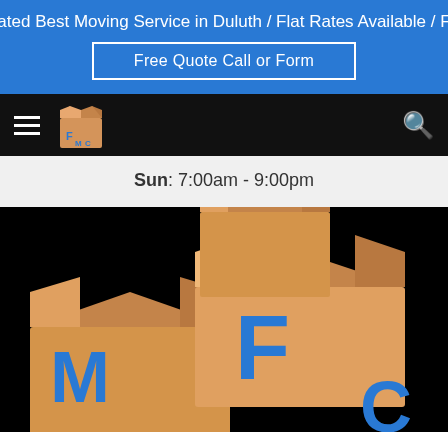Rated Best Moving Service in Duluth / Flat Rates Available / F...
Free Quote Call or Form
[Figure (logo): FMC moving company logo with cardboard boxes and letters F, M, C]
Sun: 7:00am - 9:00pm
[Figure (illustration): Large FMC moving company logo illustration showing stacked cardboard boxes with F, M, C letters on black background]